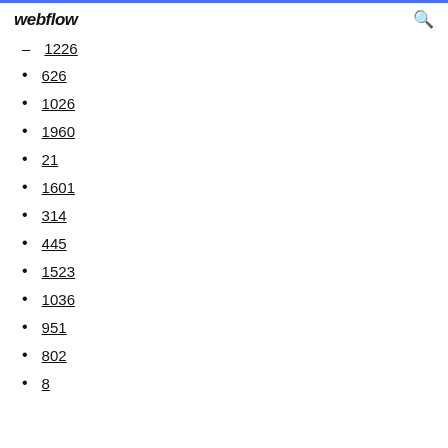webflow
1226
626
1026
1960
21
1601
314
445
1523
1036
951
802
8